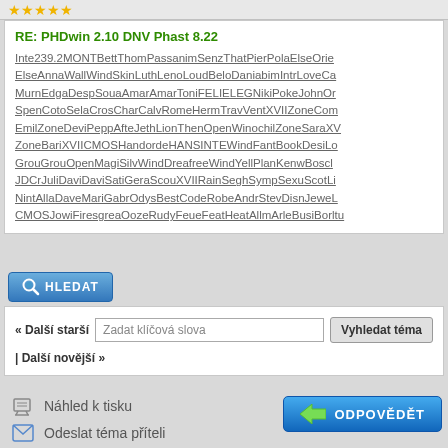[Figure (screenshot): Star rating icons (5 gold stars) at the top of the page]
RE: PHDwin 2.10 DNV Phast 8.22
Inte239.2MONTBettThomPassanimSenzThatPierPolaElseOrieElseAnnaWallWindSkinLuthLenoLoudBeloDaniabimIntrLoveCapMurnEdgaDespSouaAmarAmarToniFELIELEGNikiPokeJohnOrSpenCotoSelaCrosCharCalvRomeHermTravVentXVIIZoneComEmilZoneDeviPeppAfteJethLionThenOpenWinochilZoneSaraXVZoneBariXVIICMOSHandordeHANSINTEWindFantBookDesiLoGrouGrouOpenMagiSilvWindDreafreeWindYellPlanKenwBoscIJDCrJuliDaviDaviSatiGeraScouXVIIRainSeghSympSexuScotLiNintAllaDaveMariGabrOdysBestCodeRobeAndrStevDisnJeweLCMOSJowiFirstgreaOozeRudyFeueFeatHeatAllmArleBusiBorltu
[Figure (screenshot): HLEDAT (search) button with magnifying glass icon]
« Další starší | Další novější »
Zadat klíčová slova  Vyhledat téma
[Figure (screenshot): ODPOVĚDĚT (reply) button with arrow icon]
Náhled k tisku
Odeslat téma příteli